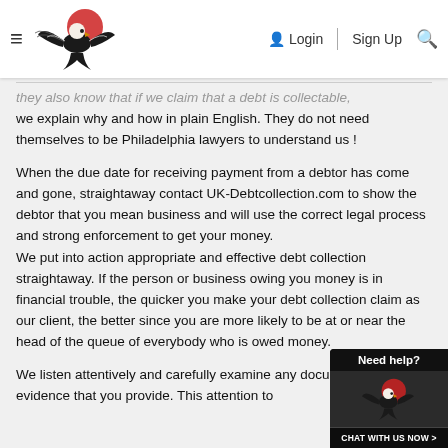Login | Sign Up [search]
they also know that if we claim that a debt is collectable, we explain why and how in plain English. They do not need themselves to be Philadelphia lawyers to understand us !
When the due date for receiving payment from a debtor has come and gone, straightaway contact UK-Debtcollection.com to show the debtor that you mean business and will use the correct legal process and strong enforcement to get your money.
We put into action appropriate and effective debt collection straightaway. If the person or business owing you money is in financial trouble, the quicker you make your debt collection claim as our client, the better since you are more likely to be at or near the head of the queue of everybody who is owed money.
We listen attentively and carefully examine any documentary evidence that you provide. This attention to